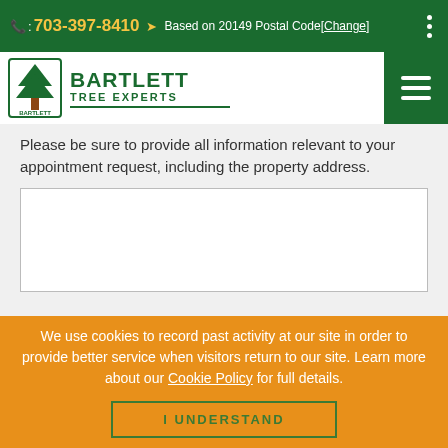: 703-397-8410  Based on 20149 Postal Code [Change]
[Figure (logo): Bartlett Tree Experts logo with green tree icon and company name]
Please be sure to provide all information relevant to your appointment request, including the property address.
We use cookies to record past activity at our site in order to provide better service when visitors return to our site. Learn more about our Cookie Policy for full details.
I UNDERSTAND